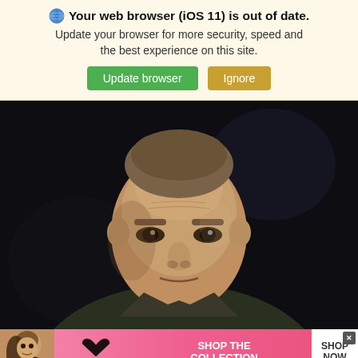🌐 Your web browser (iOS 11) is out of date. Update your browser for more security, speed and the best experience on this site. [Update browser] [Ignore]
[Figure (photo): Close-up photograph of a stern-looking military officer in dark olive/green uniform, facing slightly to the right, with a blurred dark background. The man appears to be a high-ranking official.]
[Figure (photo): Victoria's Secret advertisement banner featuring a female model on the left, the Victoria's Secret logo in the center, text reading SHOP THE COLLECTION, and a white SHOP NOW button on the right. Pink gradient background.]